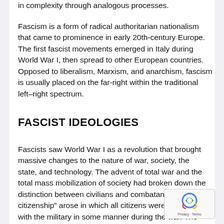in complexity through analogous processes.
Fascism is a form of radical authoritarian nationalism that came to prominence in early 20th-century Europe. The first fascist movements emerged in Italy during World War I, then spread to other European countries. Opposed to liberalism, Marxism, and anarchism, fascism is usually placed on the far-right within the traditional left–right spectrum.
FASCIST IDEOLOGIES
Fascists saw World War I as a revolution that brought massive changes to the nature of war, society, the state, and technology. The advent of total war and the total mass mobilization of society had broken down the distinction between civilians and combatants. A “military citizenship” arose in which all citizens were involved with the military in some manner during the war. The war resulted in the rise of a powerful state capable of